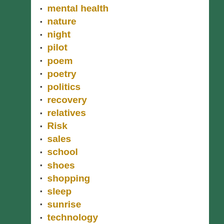mental health
nature
night
pilot
poem
poetry
politics
recovery
relatives
Risk
sales
school
shoes
shopping
sleep
sunrise
technology
the sea
time
travel
war